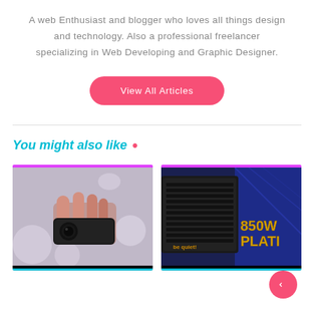A web Enthusiast and blogger who loves all things design and technology. Also a professional freelancer specializing in Web Developing and Graphic Designer.
View All Articles
You might also like .
[Figure (photo): Close-up photo of a person holding a small black dashcam or USB camera device, with a blurred background.]
[Figure (photo): Photo of a black PC power supply unit (PSU) with vented grill and a fan visible, with packaging in the background showing '850W PLATI' text in gold/orange.]